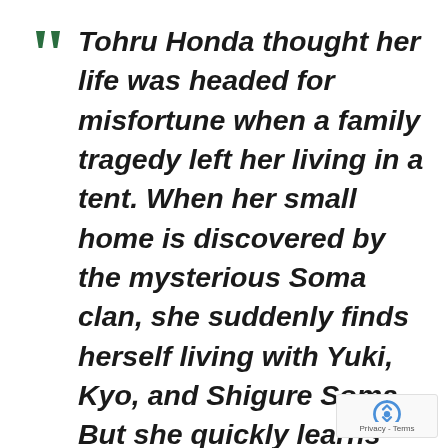Tohru Honda thought her life was headed for misfortune when a family tragedy left her living in a tent. When her small home is discovered by the mysterious Soma clan, she suddenly finds herself living with Yuki, Kyo, and Shigure Soma. But she quickly learns their family has a bizarre secret of their own: when hugged by the opposite sex, they turn into the animals of the Zodiac!